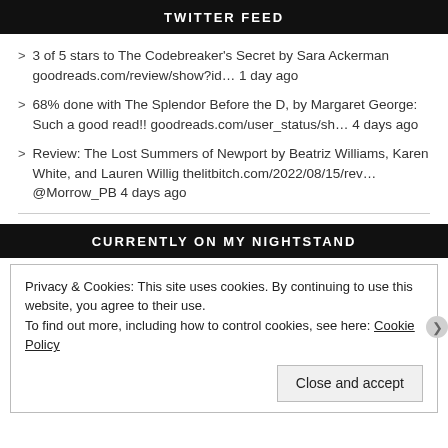TWITTER FEED
3 of 5 stars to The Codebreaker's Secret by Sara Ackerman goodreads.com/review/show?id… 1 day ago
68% done with The Splendor Before the D, by Margaret George: Such a good read!! goodreads.com/user_status/sh… 4 days ago
Review: The Lost Summers of Newport by Beatriz Williams, Karen White, and Lauren Willig thelitbitch.com/2022/08/15/rev… @Morrow_PB 4 days ago
CURRENTLY ON MY NIGHTSTAND
Privacy & Cookies: This site uses cookies. By continuing to use this website, you agree to their use.
To find out more, including how to control cookies, see here: Cookie Policy
Close and accept